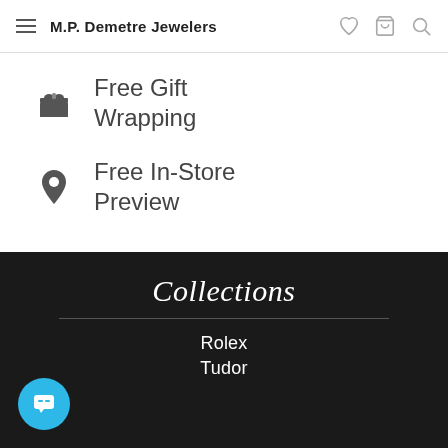M.P. Demetre Jewelers
Free Gift Wrapping
Free In-Store Preview
Collections
Rolex
Tudor